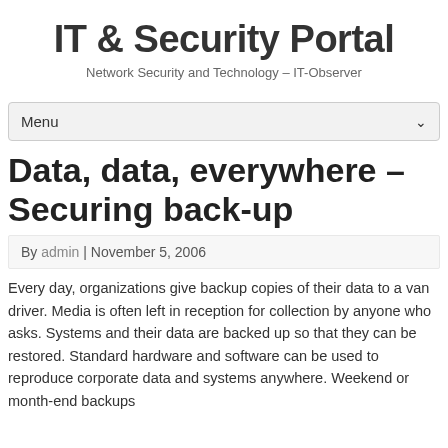IT & Security Portal
Network Security and Technology – IT-Observer
Menu
Data, data, everywhere – Securing back-up
By admin | November 5, 2006
Every day, organizations give backup copies of their data to a van driver. Media is often left in reception for collection by anyone who asks. Systems and their data are backed up so that they can be restored. Standard hardware and software can be used to reproduce corporate data and systems anywhere. Weekend or month-end backups